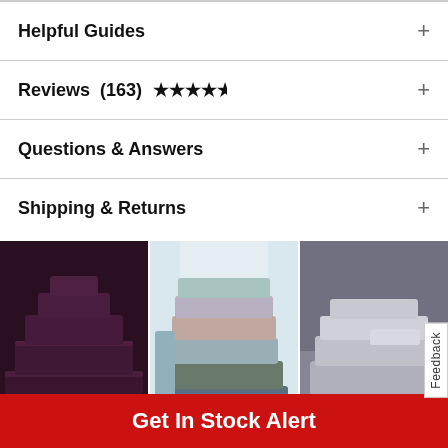Helpful Guides
Reviews (163) ★★★★½
Questions & Answers
Shipping & Returns
[Figure (photo): Three product photos of folded bath towels: purple/plum stack, multi-color pastel stack, light gray stack]
Get In Stock Alert